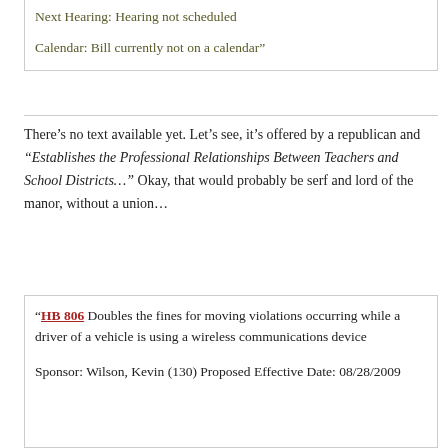Next Hearing: Hearing not scheduled
Calendar: Bill currently not on a calendar”
There’s no text available yet. Let’s see, it’s offered by a republican and “Establishes the Professional Relationships Between Teachers and School Districts…” Okay, that would probably be serf and lord of the manor, without a union…
“HB 806 Doubles the fines for moving violations occurring while a driver of a vehicle is using a wireless communications device
Sponsor: Wilson, Kevin (130) Proposed Effective Date: 08/28/2009